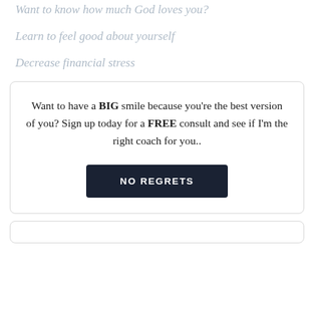Want to know how much God loves you?
Learn to feel good about yourself
Decrease financial stress
Want to have a BIG smile because you're the best version of you? Sign up today for a FREE consult and see if I'm the right coach for you..
NO REGRETS